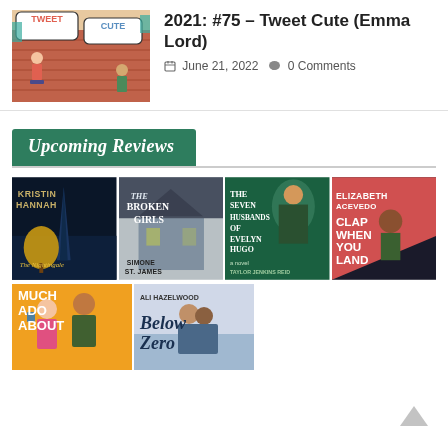[Figure (illustration): Book cover for Tweet Cute by Emma Lord, colorful illustration with speech bubbles saying TWEET and CUTE, characters on a brick building]
2021: #75 – Tweet Cute (Emma Lord)
June 21, 2022   0 Comments
Upcoming Reviews
[Figure (illustration): Grid of book covers: The Nightingale by Kristin Hannah, The Broken Girls by Simone St. James, The Seven Husbands of Evelyn Hugo by Taylor Jenkins Reid, Clap When You Land by Elizabeth Acevedo, Much Ado About (cropped), Below Zero by Ali Hazelwood]